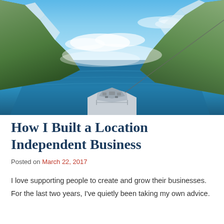[Figure (photo): Aerial view from the bow of a ship sailing through a fjord surrounded by steep mountains with snow-capped peaks, blue calm water, and a partly cloudy blue sky.]
How I Built a Location Independent Business
Posted on March 22, 2017
I love supporting people to create and grow their businesses. For the last two years, I've quietly been taking my own advice.